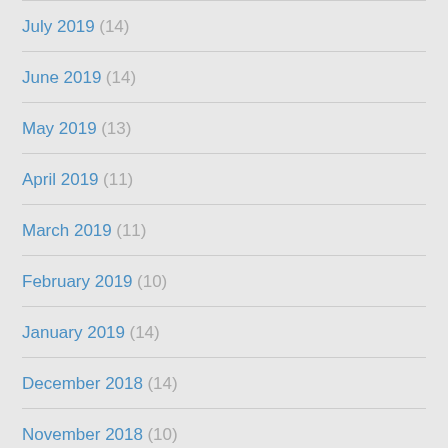July 2019 (14)
June 2019 (14)
May 2019 (13)
April 2019 (11)
March 2019 (11)
February 2019 (10)
January 2019 (14)
December 2018 (14)
November 2018 (10)
October 2018 (13)
September 2018 (17)